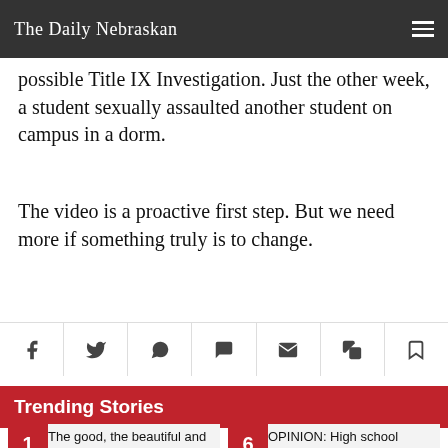The Daily Nebraskan
possible Title IX Investigation. Just the other week, a student sexually assaulted another student on campus in a dorm.
The video is a proactive first step. But we need more if something truly is to change.
[Figure (other): Social share button bar with icons for Facebook, Twitter, WhatsApp, SMS/chat, email, copy link, and bookmark]
Trending Stories
1 The good, the beautiful and the ugly of Omaha Fashion
6 OPINION: High school journalists have the right to free speech too